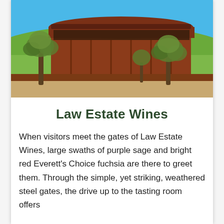[Figure (photo): Exterior photo of Law Estate Wines winery building — a modern structure with a curved wooden/red steel facade, large olive trees in a sandy foreground, colorful wildflowers on a hill behind the building, and a bright blue sky.]
Law Estate Wines
When visitors meet the gates of Law Estate Wines, large swaths of purple sage and bright red Everett's Choice fuchsia are there to greet them. Through the simple, yet striking, weathered steel gates, the drive up to the tasting room offers